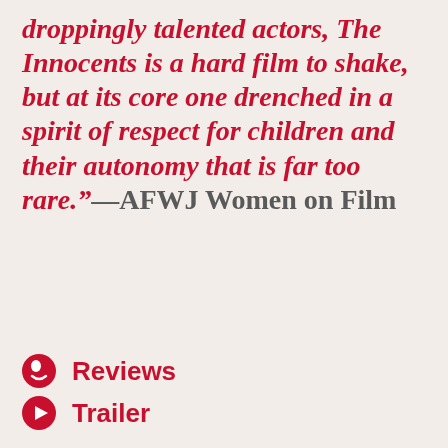droppingly talented actors, The Innocents is a hard film to shake, but at its core one drenched in a spirit of respect for children and their autonomy that is far too rare."—AFWJ Women on Film
Reviews
Trailer